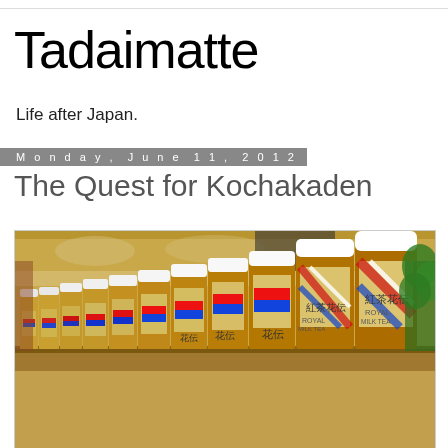Tadaimatte
Life after Japan.
Monday, June 11, 2012
The Quest for Kochakaden
[Figure (photo): Rows of Japanese bottled tea (Kochakaden Royal Milk Tea) bottles lined up on a shelf, with Japanese text on the labels and red/white striped design elements.]